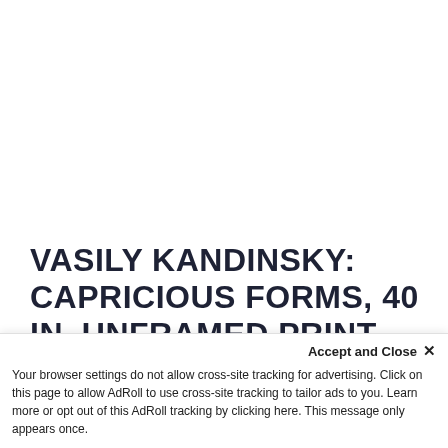VASILY KANDINSKY: CAPRICIOUS FORMS, 40 IN. UNFRAMED PRINT
★★★★★  |  Be the first to review this product
We are pleased to offer reproductions of works from the Vasily Kandinsky Around the Circle exhibition
Accept and Close ✕
Your browser settings do not allow cross-site tracking for advertising. Click on this page to allow AdRoll to use cross-site tracking to tailor ads to you. Learn more or opt out of this AdRoll tracking by clicking here. This message only appears once.